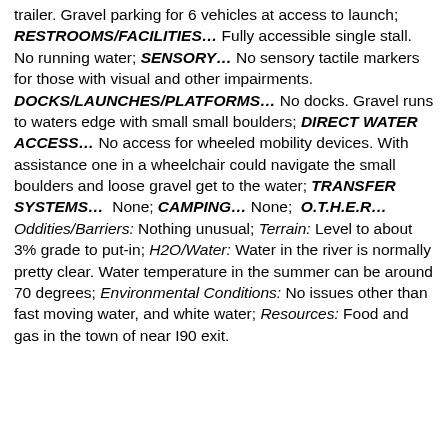trailer. Gravel parking for 6 vehicles at access to launch; RESTROOMS/FACILITIES… Fully accessible single stall. No running water; SENSORY… No sensory tactile markers for those with visual and other impairments. DOCKS/LAUNCHES/PLATFORMS… No docks. Gravel runs to waters edge with small small boulders; DIRECT WATER ACCESS… No access for wheeled mobility devices. With assistance one in a wheelchair could navigate the small boulders and loose gravel get to the water; TRANSFER SYSTEMS… None; CAMPING… None; O.T.H.E.R… Oddities/Barriers: Nothing unusual; Terrain: Level to about 3% grade to put-in; H2O/Water: Water in the river is normally pretty clear. Water temperature in the summer can be around 70 degrees; Environmental Conditions: No issues other than fast moving water, and white water; Resources: Food and gas in the town of near I90 exit.